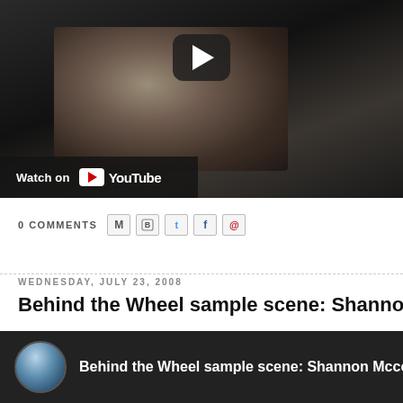[Figure (screenshot): YouTube video embed showing a dark scene with a person, with a play button overlay and 'Watch on YouTube' bar at the bottom left]
0 COMMENTS
WEDNESDAY, JULY 23, 2008
Behind the Wheel sample scene: Shannon Mccollu
[Figure (screenshot): YouTube video thumbnail showing a person with circular avatar and title 'Behind the Wheel sample scene: Shannon Mcco']